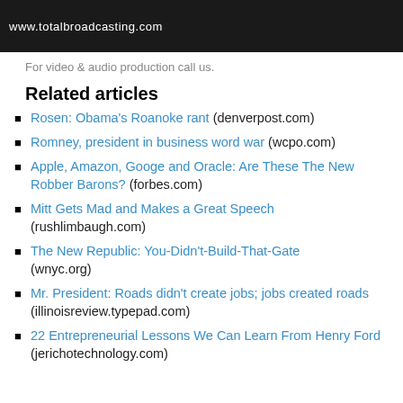[Figure (screenshot): Dark banner image with website text 'www.totalbroadcasting.com']
For video & audio production call us.
Related articles
Rosen: Obama's Roanoke rant (denverpost.com)
Romney, president in business word war (wcpo.com)
Apple, Amazon, Googe and Oracle: Are These The New Robber Barons? (forbes.com)
Mitt Gets Mad and Makes a Great Speech (rushlimbaugh.com)
The New Republic: You-Didn't-Build-That-Gate (wnyc.org)
Mr. President: Roads didn't create jobs; jobs created roads (illinoisreview.typepad.com)
22 Entrepreneurial Lessons We Can Learn From Henry Ford (jerichotechnology.com)